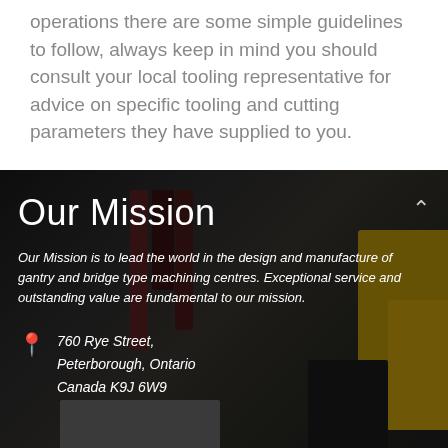operations there are some simple guidelines to follow, always keep in mind you should consult your local tooling representative for advice on specific tooling and cutting parameters they have supplied to you.
[Figure (photo): Dark industrial background showing gantry or bridge type machining centre equipment with red vertical columns and yellow machine frame elements]
Our Mission
Our Mission is to lead the world in the design and manufacture of gantry and bridge type machining centres. Exceptional service and outstanding value are fundamental to our mission.
760 Rye Street, Peterborough, Ontario Canada K9J 6W9